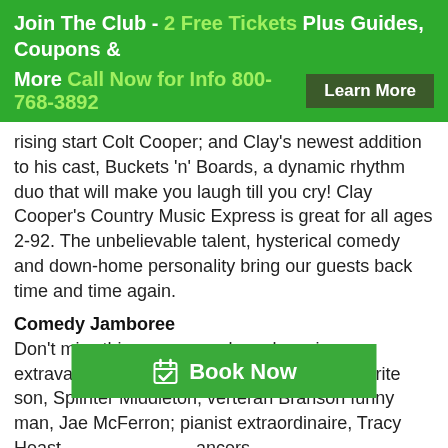Join The Club - 2 Free Tickets Plus Guides, Coupons & More Call Now for Info 800-768-3892 Learn More
rising start Colt Cooper; and Clay's newest addition to his cast, Buckets 'n' Boards, a dynamic rhythm duo that will make you laugh till you cry! Clay Cooper's Country Music Express is great for all ages 2-92. The unbelievable talent, hysterical comedy and down-home personality bring our guests back time and time again.
Comedy Jamboree
Don't miss this zany comedy and music extravaganza! Starring Grand Country's Favorite son, Splinter Middleton; verteran Branson funny man, Jae McFerron; pianist extraordinaire, Tracy Heast... dancers.
Dolly
A fun-filled, action-packed Dinner and Show